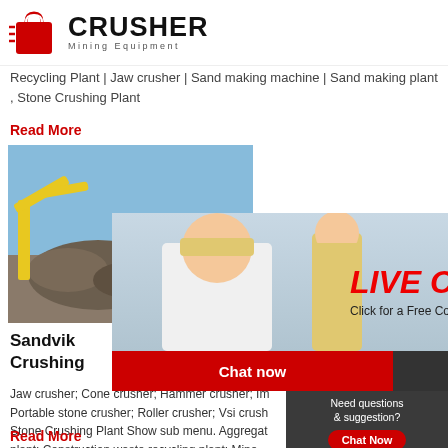CRUSHER Mining Equipment
Recycling Plant | Jaw crusher | Sand making machine | Sand making plant , Stone Crushing Plant
Read More
[Figure (photo): Excavator and crusher equipment at a mining/quarry site with blue sky background]
Sandvik Crushing
Jaw crusher; Cone crusher; Hammer crusher; Impact crusher; Portable stone crusher; Roller crusher; Vsi crusher; Show Stone Crushing Plant Show sub menu. Aggregate plant; Construction waste recycling plant; Mineral Processing Plant; Sand Manufacturing Plant; Sol sub menu. Mineral Processing; Aggregates Proc
Read More
[Figure (photo): Live Chat popup overlay showing workers in hard hats and female customer service representative, with Chat now and Chat later buttons]
[Figure (photo): Right sidebar showing 24Hrs Online banner, female customer service agent with headset, Need questions & suggestion? chat button, Enquiry link, and limingjlmofen@sina.com email]